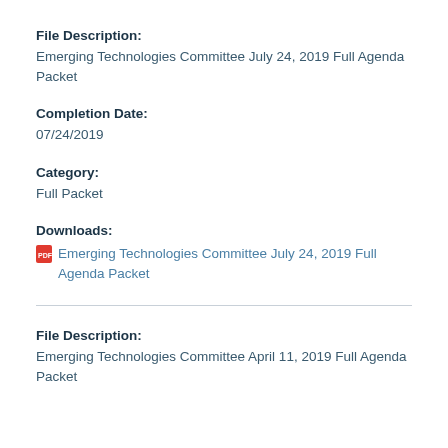File Description:
Emerging Technologies Committee July 24, 2019 Full Agenda Packet
Completion Date:
07/24/2019
Category:
Full Packet
Downloads:
Emerging Technologies Committee July 24, 2019 Full Agenda Packet
File Description:
Emerging Technologies Committee April 11, 2019 Full Agenda Packet